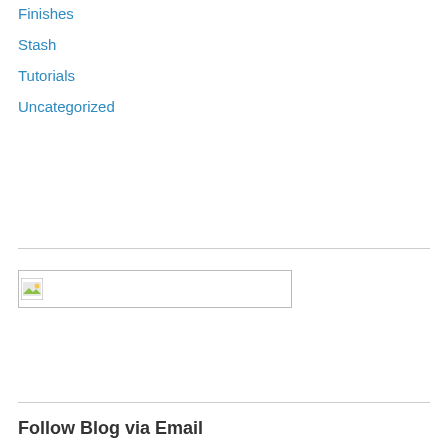Finishes
Stash
Tutorials
Uncategorized
[Figure (other): Broken/placeholder image element, shown as a small icon with a border box]
Follow Blog via Email